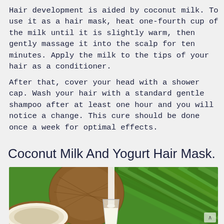Hair development is aided by coconut milk. To use it as a hair mask, heat one-fourth cup of the milk until it is slightly warm, then gently massage it into the scalp for ten minutes. Apply the milk to the tips of your hair as a conditioner.
After that, cover your head with a shower cap. Wash your hair with a standard gentle shampoo after at least one hour and you will notice a change. This cure should be done once a week for optimal effects.
Coconut Milk And Yogurt Hair Mask.
[Figure (photo): Photo of a whole brown coconut and a halved coconut with white flesh, a glass of coconut milk being poured, set on green palm leaves background.]